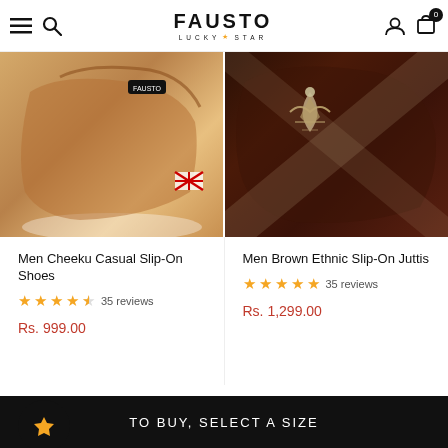FAUSTO LUCKY STAR
[Figure (photo): Two product photos side by side: left shows Men Cheeku Casual Slip-On Shoes in tan/brown leather, right shows Men Brown Ethnic Slip-On Juttis in dark brown leather with embroidery]
Men Cheeku Casual Slip-On Shoes
★★★★☆ 35 reviews
Rs. 999.00
Men Brown Ethnic Slip-On Juttis
★★★★★ 35 reviews
Rs. 1,299.00
SIZE: 7
SIZE CHART
6  7  8  9  10  11
TO BUY, SELECT A SIZE